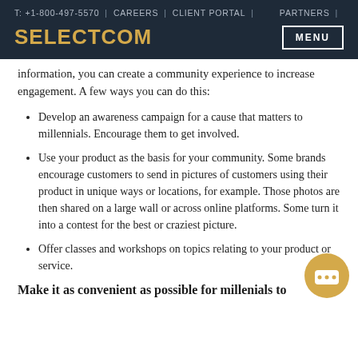T: +1-800-497-5570 | CAREERS | CLIENT PORTAL | PARTNERS |
SELECTCOM | MENU
information, you can create a community experience to increase engagement. A few ways you can do this:
Develop an awareness campaign for a cause that matters to millennials. Encourage them to get involved.
Use your product as the basis for your community. Some brands encourage customers to send in pictures of customers using their product in unique ways or locations, for example. Those photos are then shared on a large wall or across online platforms. Some turn it into a contest for the best or craziest picture.
Offer classes and workshops on topics relating to your product or service.
Make it as convenient as possible for millenials to